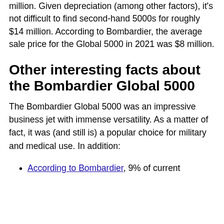million. Given depreciation (among other factors), it's not difficult to find second-hand 5000s for roughly $14 million. According to Bombardier, the average sale price for the Global 5000 in 2021 was $8 million.
Other interesting facts about the Bombardier Global 5000
The Bombardier Global 5000 was an impressive business jet with immense versatility. As a matter of fact, it was (and still is) a popular choice for military and medical use. In addition:
According to Bombardier, 9% of current